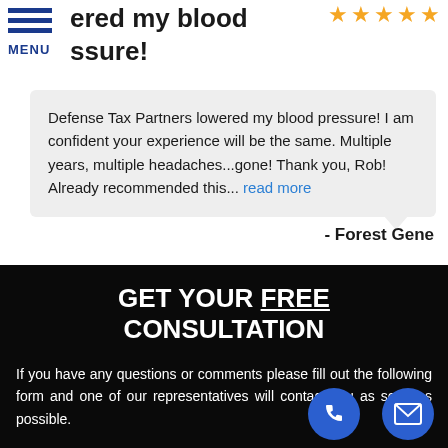ered my blood ssure!
Defense Tax Partners lowered my blood pressure! I am confident your experience will be the same. Multiple years, multiple headaches...gone! Thank you, Rob! Already recommended this... read more
- Forest Gene
GET YOUR FREE CONSULTATION
If you have any questions or comments please fill out the following form and one of our representatives will contact you as soon as possible.